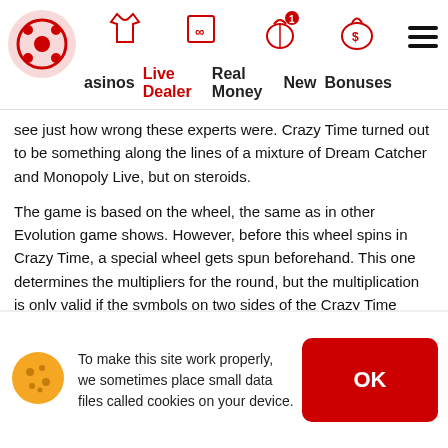asinos | Live Dealer | Real Money | New | Bonuses
see just how wrong these experts were. Crazy Time turned out to be something along the lines of a mixture of Dream Catcher and Monopoly Live, but on steroids.
The game is based on the wheel, the same as in other Evolution game shows. However, before this wheel spins in Crazy Time, a special wheel gets spun beforehand. This one determines the multipliers for the round, but the multiplication is only valid if the symbols on two sides of the Crazy Time wheel (the pre-round one) turn out to be the same.
The main wheel has 54 segments, which are either 1, 2, 5, 10, or BONUS GAME. If the wheel stops at the BONUS GAME segment, you get to try your luck in one of the four
To make this site work properly, we sometimes place small data files called cookies on your device.